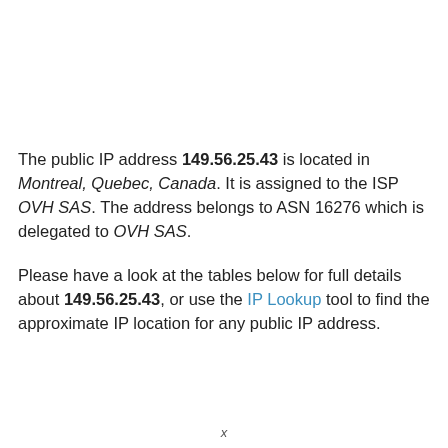The public IP address 149.56.25.43 is located in Montreal, Quebec, Canada. It is assigned to the ISP OVH SAS. The address belongs to ASN 16276 which is delegated to OVH SAS.
Please have a look at the tables below for full details about 149.56.25.43, or use the IP Lookup tool to find the approximate IP location for any public IP address.